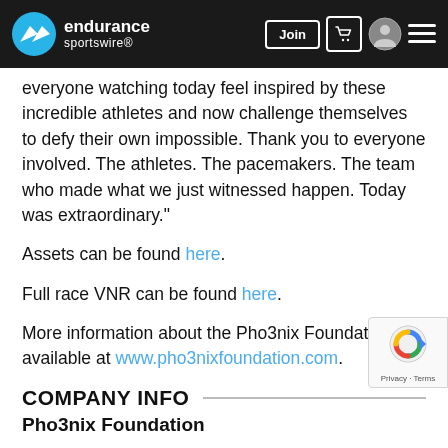endurance sportswire — Join [navigation bar]
everyone watching today feel inspired by these incredible athletes and now challenge themselves to defy their own impossible. Thank you to everyone involved. The athletes. The pacemakers. The team who made what we just witnessed happen. Today was extraordinary."
Assets can be found here.
Full race VNR can be found here.
More information about the Pho3nix Foundation is available at www.pho3nixfoundation.com.
COMPANY INFO
Pho3nix Foundation